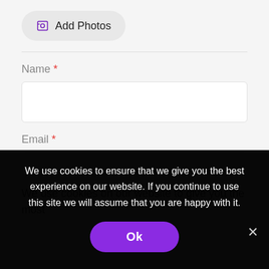[Figure (screenshot): Add Photos button with image icon, light gray rounded pill button]
Name *
[Figure (screenshot): Empty text input field for Name]
Email *
[Figure (screenshot): Partially visible empty text input field for Email]
We use cookies on our website to give you the most
We use cookies to ensure that we give you the best experience on our website. If you continue to use this site we will assume that you are happy with it.
[Figure (screenshot): Ok button - purple rounded pill button]